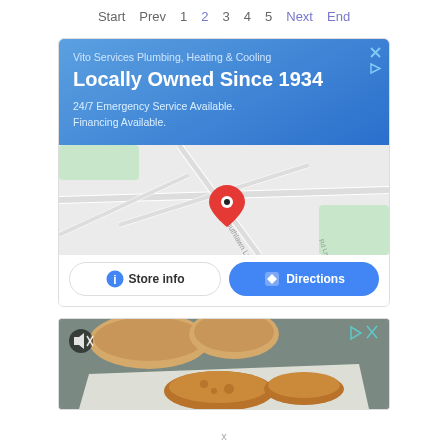Start  Prev  1  2  3  4  5  Next  End
[Figure (screenshot): Advertisement for Vito Services Plumbing, Heating & Cooling with blue header, map, Store info and Directions buttons]
[Figure (photo): Food advertisement showing bread rolls and fried chicken with mute icon overlay]
x